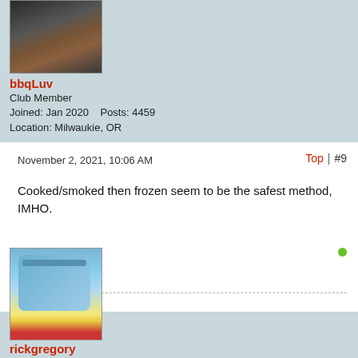[Figure (photo): Avatar photo of bbqLuv showing meat on a grill/smoker]
bbqLuv
Club Member
Joined: Jan 2020    Posts: 4459
Location: Milwaukie, OR
November 2, 2021, 10:06 AM
Top | #9
Cooked/smoked then frozen seem to be the safest method, IMHO.
[Figure (illustration): Avatar illustration for rickgregory showing an animated cartoon character with blue helmet/gear]
rickgregory
Founding Member